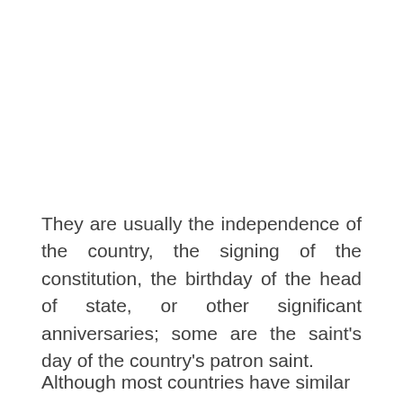They are usually the independence of the country, the signing of the constitution, the birthday of the head of state, or other significant anniversaries; some are the saint's day of the country's patron saint.
Although most countries have similar